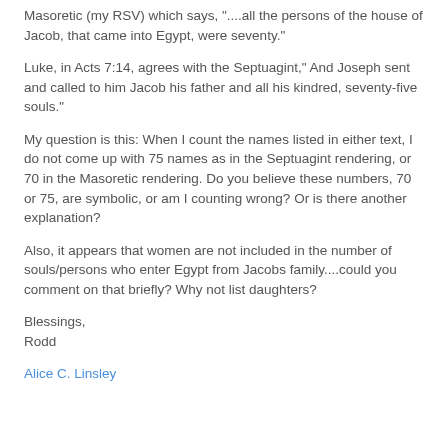Masoretic (my RSV) which says, "....all the persons of the house of Jacob, that came into Egypt, were seventy."
Luke, in Acts 7:14, agrees with the Septuagint," And Joseph sent and called to him Jacob his father and all his kindred, seventy-five souls."
My question is this: When I count the names listed in either text, I do not come up with 75 names as in the Septuagint rendering, or 70 in the Masoretic rendering. Do you believe these numbers, 70 or 75, are symbolic, or am I counting wrong? Or is there another explanation?
Also, it appears that women are not included in the number of souls/persons who enter Egypt from Jacobs family....could you comment on that briefly? Why not list daughters?
Blessings,
Rodd
Alice C. Linsley